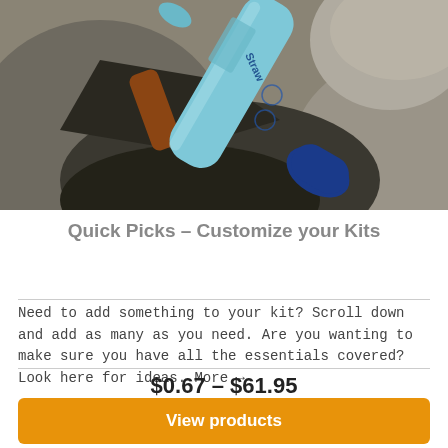[Figure (photo): Photo of a LifeStraw water filter (light blue tube with dark blue cap) resting on rocky stones outdoors]
Quick Picks – Customize your Kits
Need to add something to your kit? Scroll down and add as many as you need. Are you wanting to make sure you have all the essentials covered? Look here for ideas. More →
$0.67 – $61.95
View products